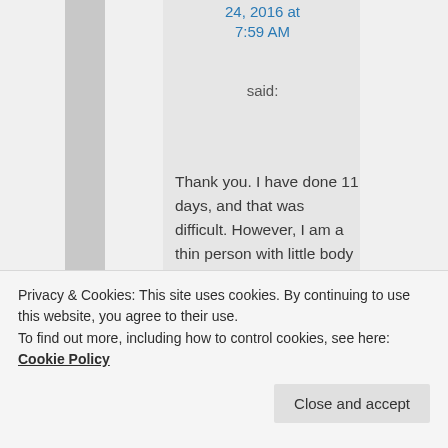24, 2016 at 7:59 AM
said:
Thank you. I have done 11 days, and that was difficult. However, I am a thin person with little body fat. It may be that the more excess body fat a person has, the more cellular fluid they have in
Privacy & Cookies: This site uses cookies. By continuing to use this website, you agree to their use.
To find out more, including how to control cookies, see here: Cookie Policy
Close and accept